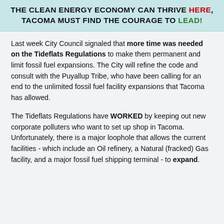THE CLEAN ENERGY ECONOMY CAN THRIVE HERE, TACOMA MUST FIND THE COURAGE TO LEAD!
Last week City Council signaled that more time was needed on the Tideflats Regulations to make them permanent and limit fossil fuel expansions. The City will refine the code and consult with the Puyallup Tribe, who have been calling for an end to the unlimited fossil fuel facility expansions that Tacoma has allowed.
The Tideflats Regulations have WORKED by keeping out new corporate polluters who want to set up shop in Tacoma. Unfortunately, there is a major loophole that allows the current facilities - which include an Oil refinery, a Natural (fracked) Gas facility, and a major fossil fuel shipping terminal - to expand.